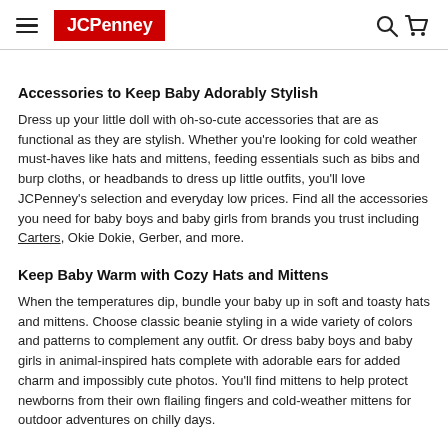JCPenney
Accessories to Keep Baby Adorably Stylish
Dress up your little doll with oh-so-cute accessories that are as functional as they are stylish. Whether you're looking for cold weather must-haves like hats and mittens, feeding essentials such as bibs and burp cloths, or headbands to dress up little outfits, you'll love JCPenney's selection and everyday low prices. Find all the accessories you need for baby boys and baby girls from brands you trust including Carters, Okie Dokie, Gerber, and more.
Keep Baby Warm with Cozy Hats and Mittens
When the temperatures dip, bundle your baby up in soft and toasty hats and mittens. Choose classic beanie styling in a wide variety of colors and patterns to complement any outfit. Or dress baby boys and baby girls in animal-inspired hats complete with adorable ears for added charm and impossibly cute photos. You'll find mittens to help protect newborns from their own flailing fingers and cold-weather mittens for outdoor adventures on chilly days.
Fun Bibs in Nearly Endless Prints and Styles